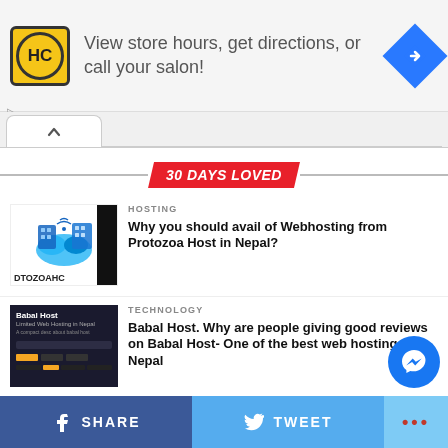[Figure (screenshot): Advertisement banner: HC logo (yellow circle), text 'View store hours, get directions, or call your salon!', blue navigation diamond icon]
[Figure (screenshot): Browser scroll/tab area with up-arrow tab]
30 DAYS LOVED
[Figure (logo): Protozoa Host logo thumbnail]
HOSTING
Why you should avail of Webhosting from Protozoa Host in Nepal?
[Figure (screenshot): Babal Host dark website screenshot thumbnail]
TECHNOLOGY
Babal Host. Why are people giving good reviews on Babal Host- One of the best web hosting in Nepal
MASTERS OF COMPUTER SCIENCE
[Figure (screenshot): Facebook Messenger floating button]
SHARE   TWEET   ...